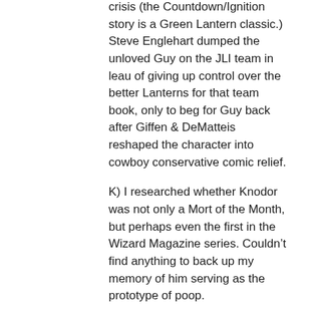crisis (the Countdown/Ignition story is a Green Lantern classic.) Steve Englehart dumped the unloved Guy on the JLI team in leau of giving up control over the better Lanterns for that team book, only to beg for Guy back after Giffen & DeMatteis reshaped the character into cowboy conservative comic relief.
K) I researched whether Knodor was not only a Mort of the Month, but perhaps even the first in the Wizard Magazine series. Couldn't find anything to back up my memory of him serving as the prototype of poop.
M)echanique struck me as nifty when I saw her first in DC house ads, then in actual A.S.S./Infinity Inc. issues. I like the idea of repurposing public domain fantastical media for period retcons, but the character didn't seem to do much for anyone. Somebody should have revived and enlivened her before the WWII era ceased to matter to DC heroic continuity.
Q) Neutron is so one of those guys who hangs around the periphery of the DCU without impressing anyone. Oh yeah, that guy– the member of the Fearsome Five I couldn't recollect when trying to list its members. Too bad Ross Andru